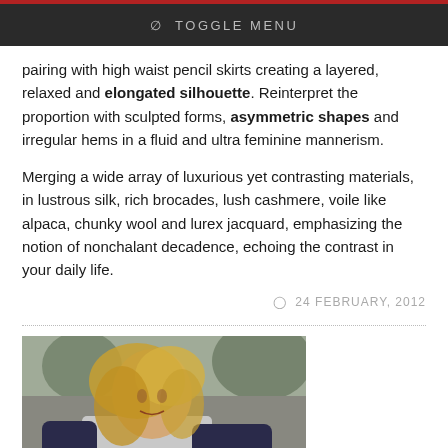⊘ TOGGLE MENU
pairing with high waist pencil skirts creating a layered, relaxed and elongated silhouette. Reinterpret the proportion with sculpted forms, asymmetric shapes and irregular hems in a fluid and ultra feminine mannerism.
Merging a wide array of luxurious yet contrasting materials, in lustrous silk, rich brocades, lush cashmere, voile like alpaca, chunky wool and lurex jacquard, emphasizing the notion of nonchalant decadence, echoing the contrast in your daily life.
24 FEBRUARY, 2012
[Figure (photo): Blonde woman wearing a navy and grey long-sleeve shirt, leaning forward outdoors]